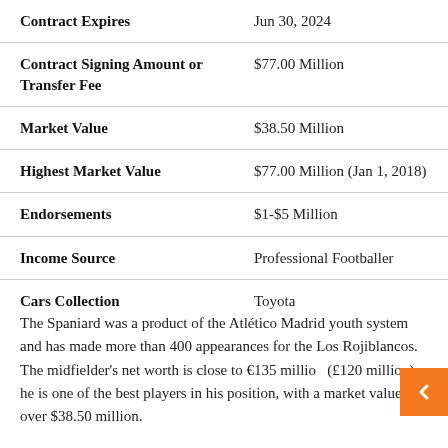| Field | Value |
| --- | --- |
| Contract Expires | Jun 30, 2024 |
| Contract Signing Amount or Transfer Fee | $77.00 Million |
| Market Value | $38.50 Million |
| Highest Market Value | $77.00 Million (Jan 1, 2018) |
| Endorsements | $1-$5 Million |
| Income Source | Professional Footballer |
| Cars Collection | Toyota |
The Spaniard was a product of the Atlético Madrid youth system and has made more than 400 appearances for the Los Rojiblancos. The midfielder's net worth is close to €135 million (£120 million); he is one of the best players in his position, with a market value of over $38.50 million.